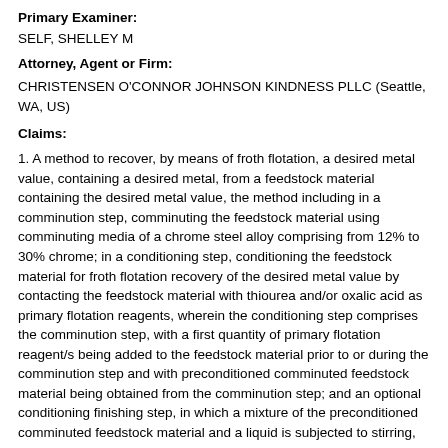Primary Examiner:
SELF, SHELLEY M
Attorney, Agent or Firm:
CHRISTENSEN O'CONNOR JOHNSON KINDNESS PLLC (Seattle, WA, US)
Claims:
1. A method to recover, by means of froth flotation, a desired metal value, containing a desired metal, from a feedstock material containing the desired metal value, the method including in a comminution step, comminuting the feedstock material using comminuting media of a chrome steel alloy comprising from 12% to 30% chrome; in a conditioning step, conditioning the feedstock material for froth flotation recovery of the desired metal value by contacting the feedstock material with thiourea and/or oxalic acid as primary flotation reagents, wherein the conditioning step comprises the comminution step, with a first quantity of primary flotation reagent/s being added to the feedstock material prior to or during the comminution step and with preconditioned comminuted feedstock material being obtained from the comminution step; and an optional conditioning finishing step, in which a mixture of the preconditioned comminuted feedstock material and a liquid is subjected to stirring, with a second quantity of the primary flotation reagent/s optionally being added to the preconditioned comminuted